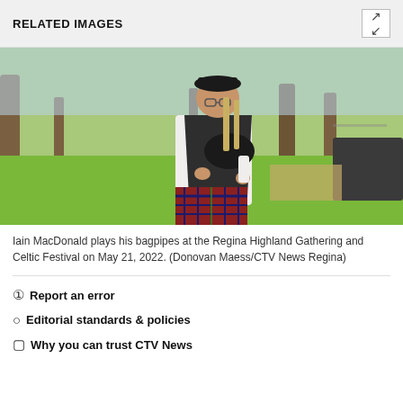RELATED IMAGES
[Figure (photo): A man in traditional Scottish attire (black vest, white shirt, tartan kilt, black cap) playing bagpipes in a park with green grass and trees in the background.]
Iain MacDonald plays his bagpipes at the Regina Highland Gathering and Celtic Festival on May 21, 2022. (Donovan Maess/CTV News Regina)
Report an error
Editorial standards & policies
Why you can trust CTV News